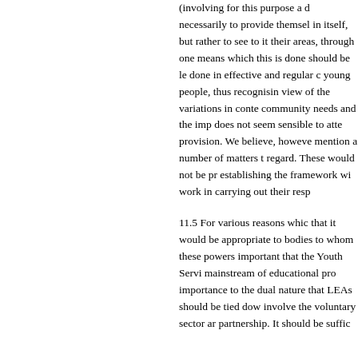(involving for this purpose a d necessarily to provide themsel in itself, but rather to see to it their areas, through one means which this is done should be le done in effective and regular c young people, thus recognisin view of the variations in conte community needs and the imp does not seem sensible to atte provision. We believe, howeve mention a number of matters t regard. These would not be pr establishing the framework wi work in carrying out their resp
11.5 For various reasons whic that it would be appropriate to bodies to whom these powers important that the Youth Servi mainstream of educational pro importance to the dual nature that LEAs should be tied dow involve the voluntary sector ar partnership. It should be suffic